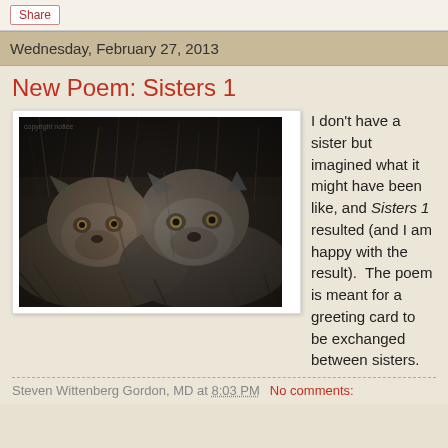Share
Wednesday, February 27, 2013
New Poem: Sisters 1
[Figure (photo): Black and white photograph of two lionesses resting close together in grass, looking toward the camera]
I don't have a sister but imagined what it might have been like, and Sisters 1 resulted (and I am happy with the result).  The poem is meant for a greeting card to be exchanged between sisters.
Steven Wittenberg Gordon, MD at 8:03 PM    No comments: